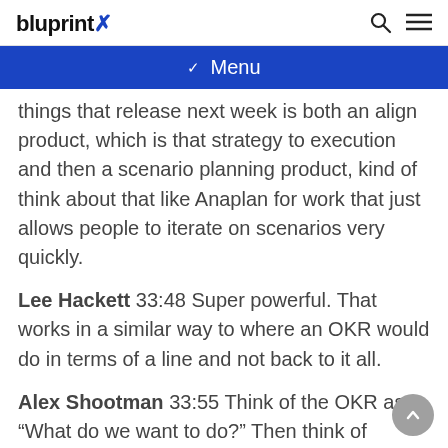bluprint X
Menu
things that release next week is both an align product, which is that strategy to execution and then a scenario planning product, kind of think about that like Anaplan for work that just allows people to iterate on scenarios very quickly.
Lee Hackett 33:48 Super powerful. That works in a similar way to where an OKR would do in terms of a line and not back to it all.
Alex Shootman 33:55 Think of the OKR as, “What do we want to do?” Then think of scenario planning as, “Okay. How are we going to do that?” Then think about an execution platform